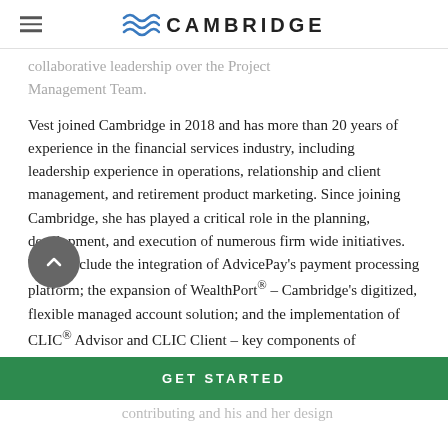CAMBRIDGE
collaborative leadership over the Project Management Team.
Vest joined Cambridge in 2018 and has more than 20 years of experience in the financial services industry, including leadership experience in operations, relationship and client management, and retirement product marketing. Since joining Cambridge, she has played a critical role in the planning, development, and execution of numerous firm wide initiatives. These include the integration of AdvicePay's payment processing platform; the expansion of WealthPort® – Cambridge's digitized, flexible managed account solution; and the implementation of CLIC® Advisor and CLIC Client – key components of Cambridge's
GET STARTED
contributing and his and her design